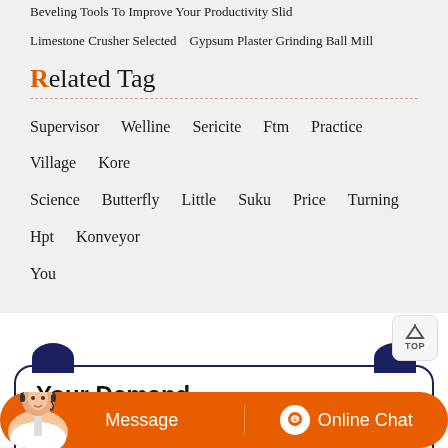Beveling Tools To Improve Your Productivity Slid   Limestone Crusher Selected   Gypsum Plaster Grinding Ball Mill
Related Tag
Supervisor   Welline   Sericite   Ftm   Practice   Village   Kore   Science   Butterfly   Little   Suku   Price   Turning   Hpt   Konveyor   You
Your Demand
Note: If you're interested in the product, please submit your requirements and contacts and then we will contact you in one
Message   Online Chat